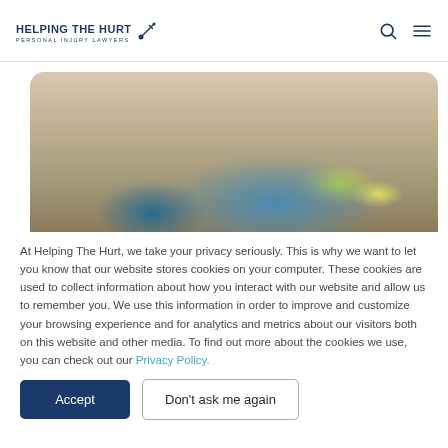HELPING THE HURT — PERSONAL INJURY LAWYERS
[Figure (photo): Blurred photo of a worker lying on the floor, wearing blue clothing and a yellow high-visibility vest, with boxes in the background]
At Helping The Hurt, we take your privacy seriously. This is why we want to let you know that our website stores cookies on your computer. These cookies are used to collect information about how you interact with our website and allow us to remember you. We use this information in order to improve and customize your browsing experience and for analytics and metrics about our visitors both on this website and other media. To find out more about the cookies we use, you can check out our Privacy Policy.
Accept
Don't ask me again